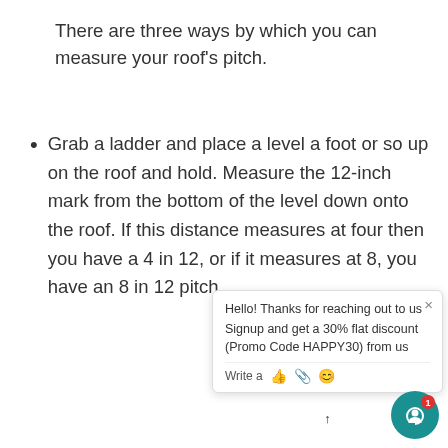There are three ways by which you can measure your roof's pitch.
Grab a ladder and place a level a foot or so up on the roof and hold. Measure the 12-inch mark from the bottom of the level down onto the roof. If this distance measures at four then you have a 4 in 12, or if it measures at 8, you have an 8 in 12 pitch.
Grab a ladder and jump up at the end of the house where the gable is. Place the level against the gable trim, flat against the house. Measure from the 12-inch mark on the level up to the bottom edge of the gable's trim. The distance you get is the roof's rise.
If you have an attic, you can place the level...
[Figure (screenshot): Chat popup widget in lower right corner showing: 'Hello! Thanks for reaching out to us Signup and get a 30% flat discount (Promo Code HAPPY30) from us' with a Write/message input row and icons (thumbs up, paperclip, emoji). Below and to the right is a teal circular FAB chat button with a red notification badge showing '1' and an upward arrow icon above it.]